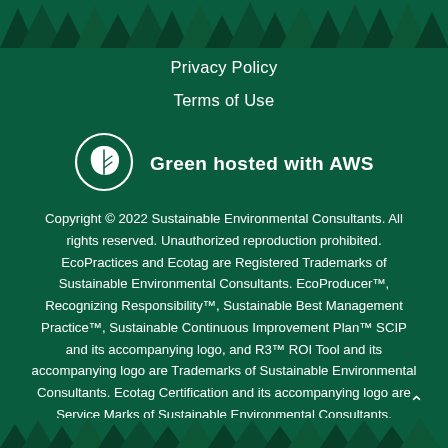[Figure (illustration): Dark green illustrated forest treeline silhouette banner at top of page]
Privacy Policy
Terms of Use
[Figure (logo): White circle with green leaf icon, labeled 'Green hosted with AWS']
Green hosted with AWS
Copyright © 2022 Sustainable Environmental Consultants. All rights reserved. Unauthorized reproduction prohibited. EcoPractices and Ecotag are Registered Trademarks of Sustainable Environmental Consultants. EcoProducer™, Recognizing Responsibility™, Sustainable Best Management Practice™, Sustainable Continuous Improvement Plan™ SCIP and its accompanying logo, and R3™ ROI Tool and its accompanying logo are Trademarks of Sustainable Environmental Consultants. Ecotag Certification and its accompanying logo are Service Marks of Sustainable Environmental Consultants.
[Figure (illustration): Dark green illustrated forest treeline silhouette banner at bottom of page]